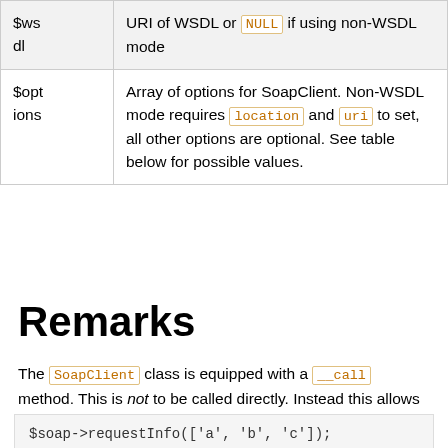| Parameter | Description |
| --- | --- |
| $wsdl | URI of WSDL or NULL if using non-WSDL mode |
| $options | Array of options for SoapClient. Non-WSDL mode requires location and uri to set, all other options are optional. See table below for possible values. |
Remarks
The SoapClient class is equipped with a __call method. This is not to be called directly. Instead this allows you to do:
$soap->requestInfo(['a', 'b', 'c']);